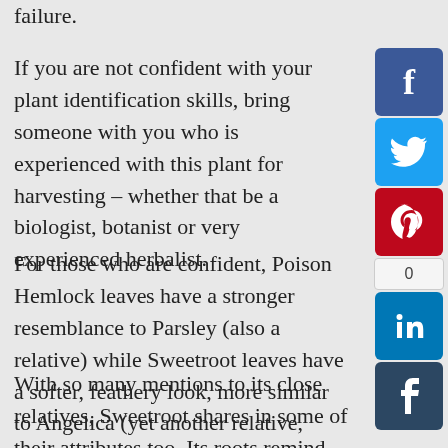failure.
If you are not confident with your plant identification skills, bring someone with you who is experienced with this plant for harvesting – whether that be a biologist, botanist or very experienced herbalist.
For those who are confident, Poison Hemlock leaves have a stronger resemblance to Parsley (also a relative) while Sweetroot leaves have a softer, feathery look, more similar to Angelica (yet another relative, too!).
With so many mentions to its close relatives, Sweetroot shares in some of their attributes too. Its roots remind one of the tastes of Anise, Fennel and Tarragon. Sweetroot occupies a similar herbal